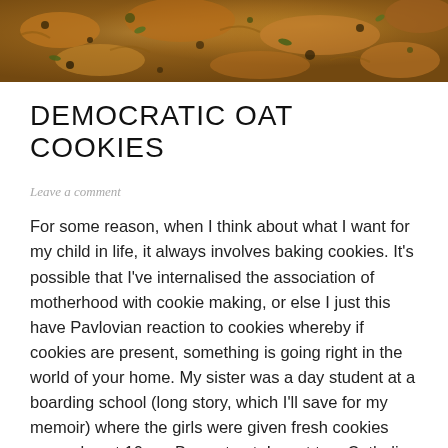[Figure (photo): Close-up photo of oat cookies with seeds/toppings visible, cropped to show texture]
DEMOCRATIC OAT COOKIES
Leave a comment
For some reason, when I think about what I want for my child in life, it always involves baking cookies. It's possible that I've internalised the association of motherhood with cookie making, or else I just this have Pavlovian reaction to cookies whereby if cookies are present, something is going right in the world of your home. My sister was a day student at a boarding school (long story, which I'll save for my memoir) where the girls were given fresh cookies every day at 10am. By contrast, I went to a Catholic school, so the closest we got to cookies was